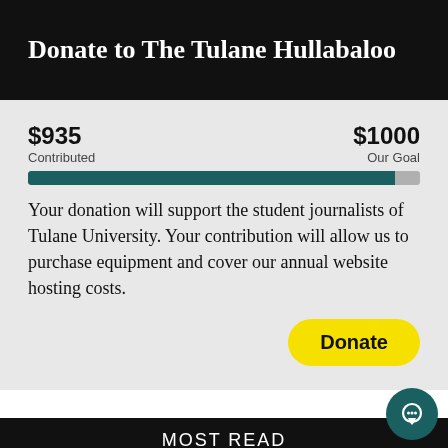Donate to The Tulane Hullabaloo
$935 Contributed  $1000 Our Goal
[Figure (other): Progress bar showing $935 contributed out of $1000 goal, approximately 93.5% filled in teal/dark green color]
Your donation will support the student journalists of Tulane University. Your contribution will allow us to purchase equipment and cover our annual website hosting costs.
Donate
MOST READ